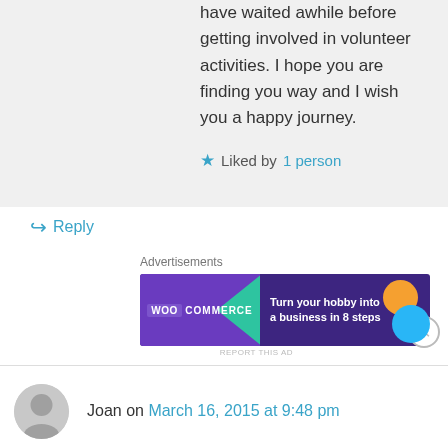have waited awhile before getting involved in volunteer activities. I hope you are finding you way and I wish you a happy journey.
★ Liked by 1 person
↪ Reply
Advertisements
[Figure (screenshot): WooCommerce advertisement banner: 'Turn your hobby into a business in 8 steps']
REPORT THIS AD
Joan on March 16, 2015 at 9:48 pm
Advertisements
REPORT THIS AD